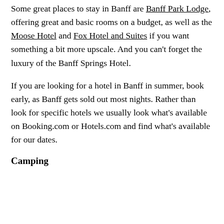Some great places to stay in Banff are Banff Park Lodge, offering great and basic rooms on a budget, as well as the Moose Hotel and Fox Hotel and Suites if you want something a bit more upscale. And you can't forget the luxury of the Banff Springs Hotel.
If you are looking for a hotel in Banff in summer, book early, as Banff gets sold out most nights. Rather than look for specific hotels we usually look what's available on Booking.com or Hotels.com and find what's available for our dates.
Camping